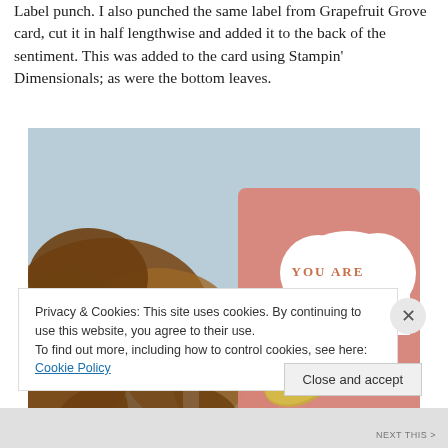Label punch. I also punched the same label from Grapefruit Grove card, cut it in half lengthwise and added it to the back of the sentiment. This was added to the card using Stampin' Dimensionals; as were the bottom leaves.
[Figure (photo): Close-up photograph of a handmade card showing autumn leaves (brown/dried) and a pink card with a white heart-shaped label reading 'YOU ARE wond...' in orange lettering, with a gold embossed leaf.]
Privacy & Cookies: This site uses cookies. By continuing to use this website, you agree to their use.
To find out more, including how to control cookies, see here: Cookie Policy
Close and accept